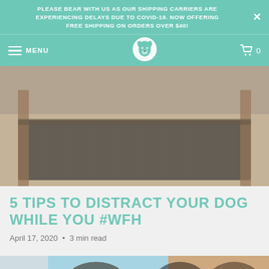PLEASE BEAR WITH US AS OUR SHIPPING CARRIERS ARE EXPERIENCING DELAYS DUE TO COVID-19. NOW OFFERING FREE SHIPPING ON ORDERS OVER $40!
[Figure (screenshot): Website navigation bar with hamburger menu icon and MENU label on left, a dog logo in center, and cart icon with 0 on right, all on teal background]
[Figure (photo): Blurred photo of a dog crate or kennel with dark interior, beige/cream surroundings]
5 TIPS TO DISTRACT YOUR DOG WHILE YOU #WFH
April 17, 2020 • 3 min read
[Figure (photo): Blurred photo showing what appears to be dogs or animals in a light blue and warm toned setting]